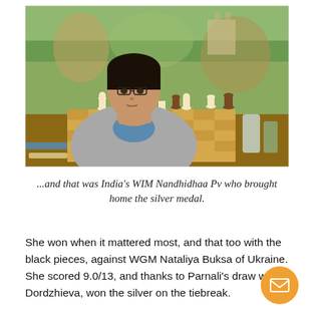[Figure (photo): Young Indian female chess player WIM Nandhidhaa Pv sitting at a chess board with pieces arranged, wearing glasses and a grey hoodie over a blue shirt, resting her chin on her hands, with a colorful painting/mural in the background. Chess pieces are visible on the board in front of her.]
...and that was India's WIM Nandhidhaa Pv who brought home the silver medal.
She won when it mattered most, and that too with the black pieces, against WGM Nataliya Buksa of Ukraine. She scored 9.0/13, and thanks to Parnali's draw with Dordzhieva, won the silver on the tiebreak.